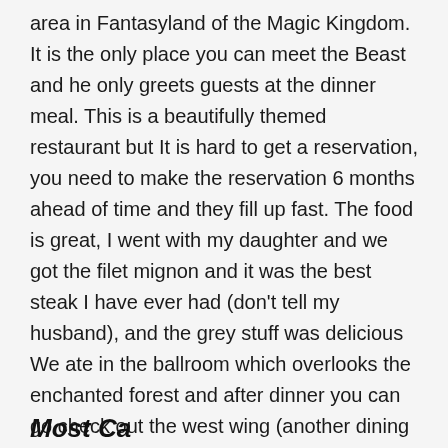area in Fantasyland of the Magic Kingdom. It is the only place you can meet the Beast and he only greets guests at the dinner meal. This is a beautifully themed restaurant but It is hard to get a reservation, you need to make the reservation 6 months ahead of time and they fill up fast. The food is great, I went with my daughter and we got the filet mignon and it was the best steak I have ever had (don't tell my husband), and the grey stuff was delicious We ate in the ballroom which overlooks the enchanted forest and after dinner you can go check out the west wing (another dining area) and see the enchanted rose and then meet the beast after you have finished eating.
Most Ca...